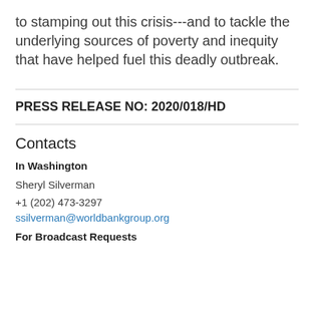to stamping out this crisis---and to tackle the underlying sources of poverty and inequity that have helped fuel this deadly outbreak.
PRESS RELEASE NO: 2020/018/HD
Contacts
In Washington
Sheryl Silverman
+1 (202) 473-3297
ssilverman@worldbankgroup.org
For Broadcast Requests